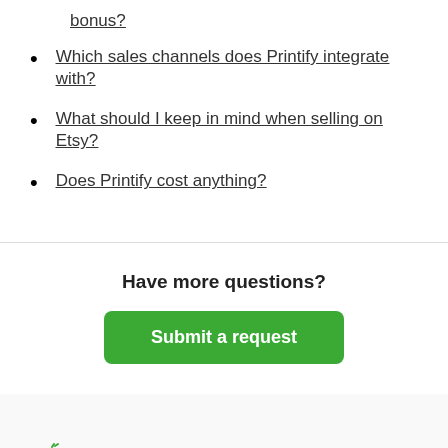bonus?
Which sales channels does Printify integrate with?
What should I keep in mind when selling on Etsy?
Does Printify cost anything?
Have more questions?
Submit a request
[Figure (logo): Printify logo with green hand icon and green bold text 'Printify']